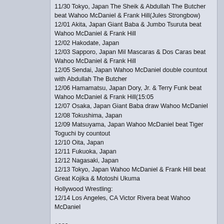11/30 Tokyo, Japan The Sheik & Abdullah The Butcher beat Wahoo McDaniel & Frank Hill(Jules Strongbow)
12/01 Akita, Japan Giant Baba & Jumbo Tsuruta beat Wahoo McDaniel & Frank Hill
12/02 Hakodate, Japan
12/03 Sapporo, Japan Mil Mascaras & Dos Caras beat Wahoo McDaniel & Frank Hill
12/05 Sendai, Japan Wahoo McDaniel double countout with Abdullah The Butcher
12/06 Hamamatsu, Japan Dory, Jr. & Terry Funk beat Wahoo McDaniel & Frank Hill(15:05
12/07 Osaka, Japan Giant Baba draw Wahoo McDaniel
12/08 Tokushima, Japan
12/09 Matsuyama, Japan Wahoo McDaniel beat Tiger Toguchi by countout
12/10 Oita, Japan
12/11 Fukuoka, Japan
12/12 Nagasaki, Japan
12/13 Tokyo, Japan Wahoo McDaniel & Frank Hill beat Great Kojika & Motoshi Ukuma
Hollywood Wrestling:
12/14 Los Angeles, CA Victor Rivera beat Wahoo McDaniel
1980
Georgia Championship Wrestling:
01/12 Atlanta, GA(TV) Wahoo McDaniel & Tommy Rich beat Bobby Garrett & Aaron Holt
01/13 Atlanta, GA Tommy Rich & Wahoo McDaniel beat Ivan Koloff & Alexis Smirnoff by DQ
01/19 Atlanta, GA Wahoo McDaniel & Thunderbolt Patterson beat Masked Superstar & Stan Hansen
Southwest Championship Wrestling:
01/29 Seguin, TX Wahoo McDaniel vs. Tully